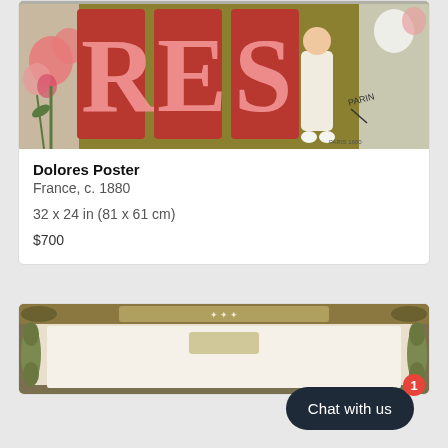[Figure (photo): Colorful vintage French poster fragment showing large decorative letters 'R E S' in red/pink on an olive/gold background, with a figure in white standing centrally, pink flowers on the left, and an artist's signature at lower right. Text at very bottom reads 'PARIS 1880' or similar.]
Dolores Poster
France, c. 1880
32 x 24 in (81 x 61 cm)
$700
[Figure (photo): Partial view of a second vintage poster with ornate decorative border in green and gold, with a beige/cream center panel, partially visible at the bottom of the page.]
Chat with us